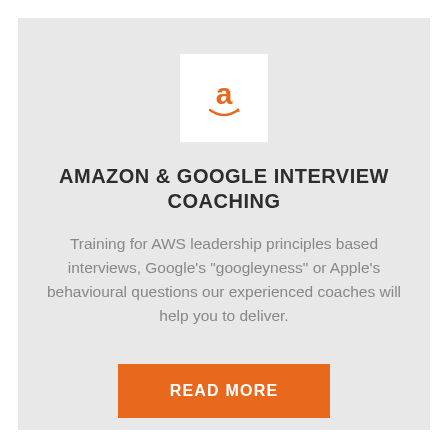[Figure (logo): Amazon logo — orange letter 'a' with orange smile/arrow beneath on white square background]
AMAZON & GOOGLE INTERVIEW COACHING
Training for AWS leadership principles based interviews, Google's "googleyness" or Apple's behavioural questions our experienced coaches will help you to deliver.
READ MORE